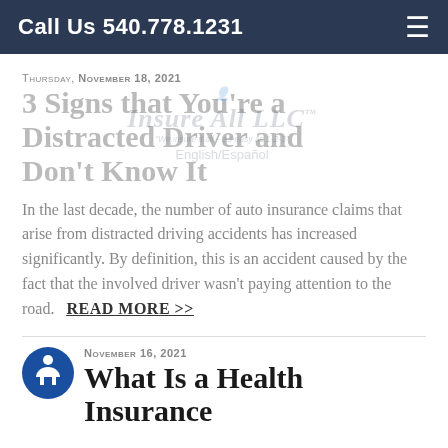Call Us 540.778.1231
Thursday, November 18, 2021
[Figure (logo): Insure All LLC watermark logo with tagline 'We insure it all – as easy as 1-2-3' and language selector English/Español]
3 Signs that You're a Distracted Driver and Don't Know It
In the last decade, the number of auto insurance claims that arise from distracted driving accidents has increased significantly. By definition, this is an accident caused by the fact that the involved driver wasn't paying attention to the road.
READ MORE >>
Thursday, November 16, 2021
[Figure (illustration): Blue circular accessibility icon with white person figure inside]
What Is a Health Insurance